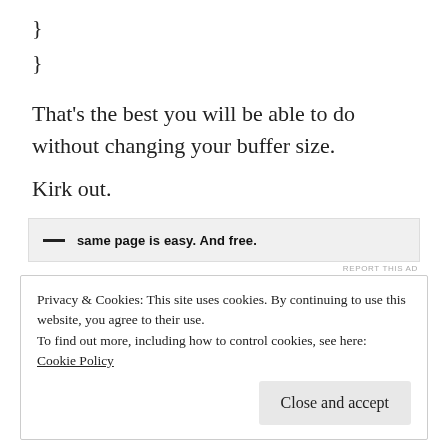}
}
That’s the best you will be able to do without changing your buffer size.
Kirk out.
[Figure (other): Advertisement banner with dash icon and text: same page is easy. And free.]
REPORT THIS AD
Privacy & Cookies: This site uses cookies. By continuing to use this website, you agree to their use.
To find out more, including how to control cookies, see here: Cookie Policy
Close and accept